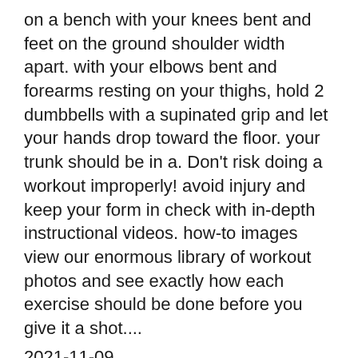on a bench with your knees bent and feet on the ground shoulder width apart. with your elbows bent and forearms resting on your thighs, hold 2 dumbbells with a supinated grip and let your hands drop toward the floor. your trunk should be in a. Don't risk doing a workout improperly! avoid injury and keep your form in check with in-depth instructional videos. how-to images view our enormous library of workout photos and see exactly how each exercise should be done before you give it a shot....
2021-11-09